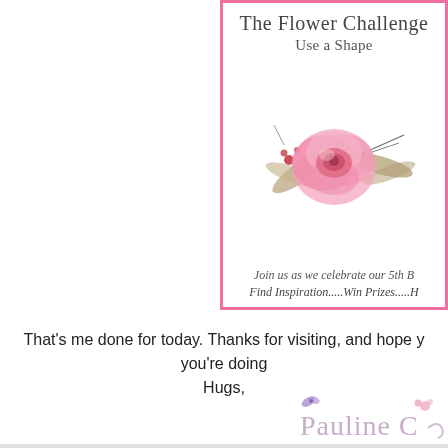[Figure (illustration): A flower challenge banner card with pink border. Title reads 'The Flower Challenge' in cursive script, subtitle 'Use a Shape', a watercolor pink rose with foliage, text 'Join us as we celebrate our 5th B...' and 'Find Inspiration.....Win Prizes.....H...' in cursive.]
That's me done for today. Thanks for visiting, and hope you're doing
Hugs,
[Figure (illustration): Cursive signature reading 'Pauline C...' with decorative butterfly and flower elements in pink and purple.]